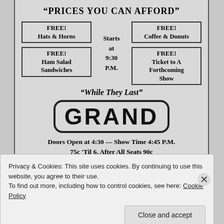"PRICES YOU CAN AFFORD"
FREE! Hats & Horns | Starts at 9:30 P.M. | FREE! Coffee & Donuts | FREE! Ham Salad Sandwiches | FREE! Ticket to A Forthcoming Show
"While They Last"
GRAND
Doors Open at 4:30 — Show Time 4:45 P.M.
75c 'Til 6, After All Seats 90c
Privacy & Cookies: This site uses cookies. By continuing to use this website, you agree to their use.
To find out more, including how to control cookies, see here: Cookie Policy